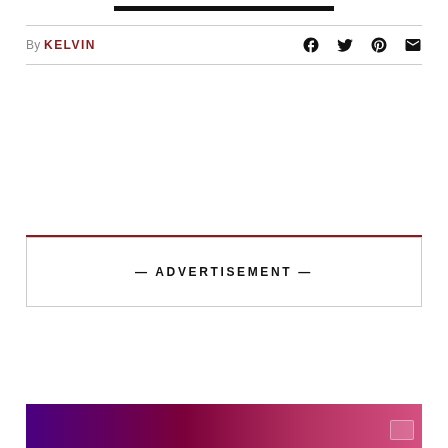By KELVIN
— ADVERTISEMENT —
[Figure (photo): Purple-pink gradient image at bottom of page]